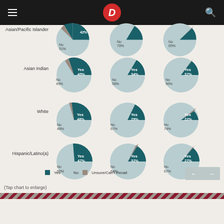D (Dispatch logo)
[Figure (pie-chart): Asian/Pacific Islander - Chart 1]
[Figure (pie-chart): Asian/Pacific Islander - Chart 2]
[Figure (pie-chart): Asian/Pacific Islander - Chart 3]
[Figure (pie-chart): Asian Indian - Chart 1]
[Figure (pie-chart): Asian Indian - Chart 2]
[Figure (pie-chart): Asian Indian - Chart 3]
[Figure (pie-chart): White - Chart 1]
[Figure (pie-chart): White - Chart 2]
[Figure (pie-chart): White - Chart 3]
[Figure (pie-chart): Hispanic/Latino(a) - Chart 1]
[Figure (pie-chart): Hispanic/Latino(a) - Chart 2]
[Figure (pie-chart): Hispanic/Latino(a) - Chart 3]
Yes | No | Unsure/Can't Recall
(Tap chart to enlarge)